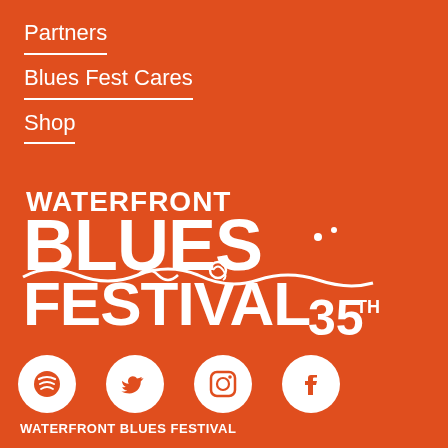Partners
Blues Fest Cares
Shop
[Figure (logo): Waterfront Blues Festival 35th anniversary logo in white on orange background, with decorative swirl lettering]
[Figure (illustration): Row of four social media icons in white circles: Spotify, Twitter, Instagram, Facebook]
WATERFRONT BLUES FESTIVAL